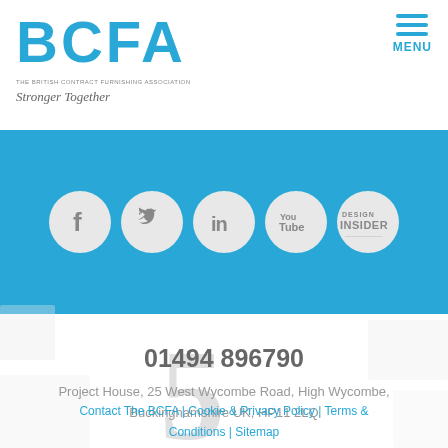[Figure (logo): BCFA logo - The British Contract Furnishing Association with tagline Stronger Together]
[Figure (infographic): Social media icons row: Facebook, Twitter, LinkedIn, YouTube, Design Insider - white circles on blue background]
01494 896790
Project House, 25 West Wycombe Road, High Wycombe, Buckinghamshire UK, HP11 2LQ
Contact The BCFA | Cookie & Privacy Policy | Terms & Conditions | Sitemap